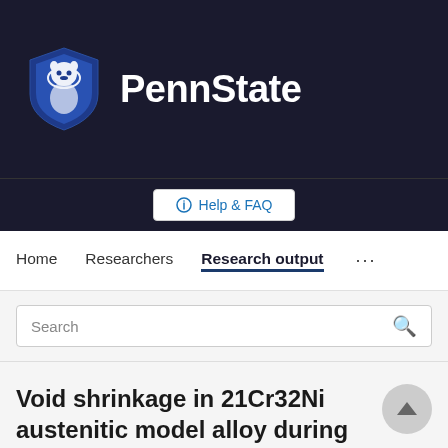[Figure (logo): Penn State University logo with lion mascot shield and 'PennState' text on dark background]
Help & FAQ
Home  Researchers  Research output  ...
Search
Void shrinkage in 21Cr32Ni austenitic model alloy during in-situ ion irradiation